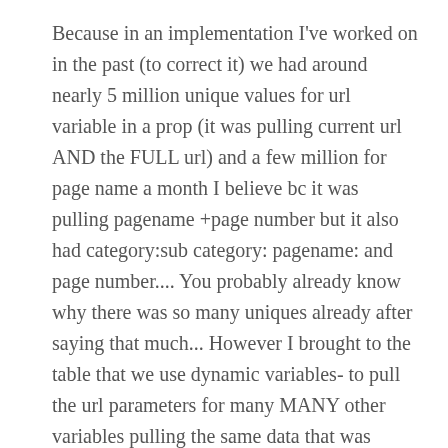Because in an implementation I've worked on in the past (to correct it) we had around nearly 5 million unique values for url variable in a prop (it was pulling current url AND the FULL url) and a few million for page name a month I believe bc it was pulling pagename +page number but it also had category:sub category: pagename: and page number.... You probably already know why there was so many uniques already after saying that much... However I brought to the table that we use dynamic variables- to pull the url parameters for many MANY other variables pulling the same data that was ALREADY in the url parameter... When explaining dynamic variables to my team I'm not sure if I got explained it or if they understood the concept correctly bc they were